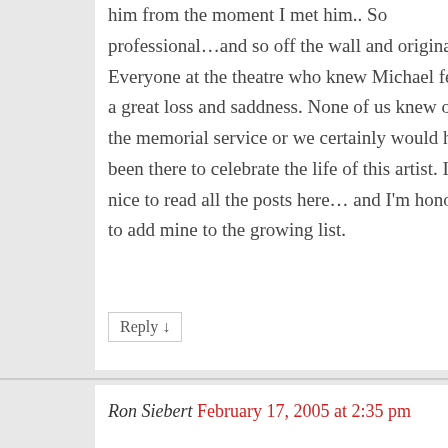him from the moment I met him.. So professional…and so off the wall and original. Everyone at the theatre who knew Michael feels a great loss and saddness. None of us knew of the memorial service or we certainly would have been there to celebrate the life of this artist. It is nice to read all the posts here… and I'm honored to add mine to the growing list.
Reply ↓
Ron Siebert February 17, 2005 at 2:35 pm